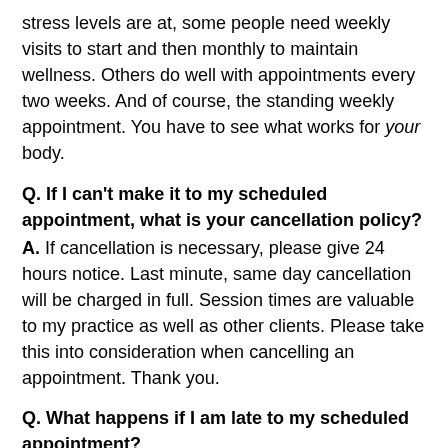stress levels are at, some people need weekly visits to start and then monthly to maintain wellness. Others do well with appointments every two weeks. And of course, the standing weekly appointment. You have to see what works for your body.
Q. If I can't make it to my scheduled appointment, what is your cancellation policy?
A. If cancellation is necessary, please give 24 hours notice. Last minute, same day cancellation will be charged in full. Session times are valuable to my practice as well as other clients. Please take this into consideration when cancelling an appointment. Thank you.
Q. What happens if I am late to my scheduled appointment?
A. In the event that you are late to your appointment, your session will continue with the remainder of the time, and you will be charged for the session time that you have scheduled. This will help ensure the next scheduled client or